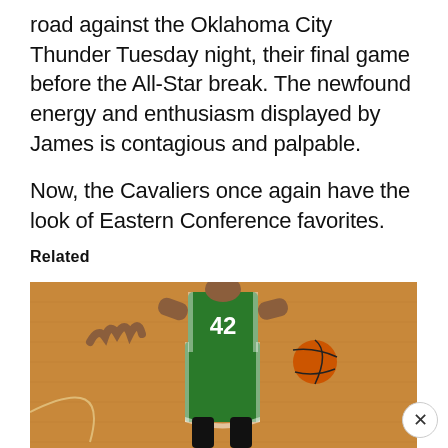road against the Oklahoma City Thunder Tuesday night, their final game before the All-Star break. The newfound energy and enthusiasm displayed by James is contagious and palpable.

Now, the Cavaliers once again have the look of Eastern Conference favorites.
Related
[Figure (photo): Basketball player wearing green jersey number 42 dribbling a basketball on a hardwood court]